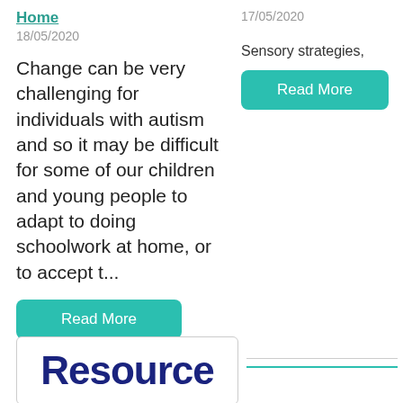Home
18/05/2020
Change can be very challenging for individuals with autism and so it may be difficult for some of our children and young people to adapt to doing schoolwork at home, or to accept t...
Read More
17/05/2020
Sensory strategies,
Read More
Resource